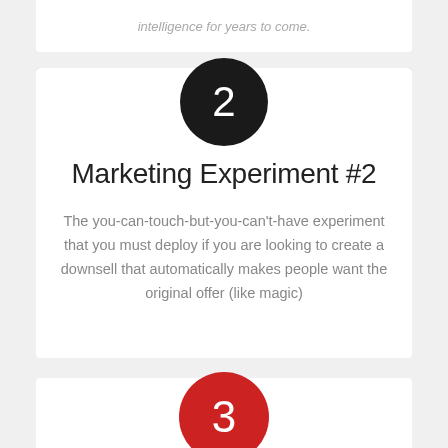intelligence for years to come.
2
Marketing Experiment #2
The you-can-touch-but-you-can't-have experiment that you must deploy if you are looking to create a downsell that automatically makes people want the original offer (like magic)
3